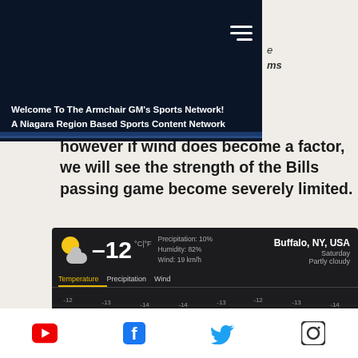Welcome To The Armchair GM's Sports Network! A Niagara Region Based Sports Content Network
however if wind does become a factor, we will see the strength of the Bills passing game become severely limited.
[Figure (screenshot): Weather widget showing Buffalo, NY, USA weather: -12°C, Precipitation 10%, Humidity 82%, Wind 19 km/h, Saturday Partly cloudy. Temperature graph with hourly values and day labels Thu through Thu.]
[Figure (infographic): Social media icons row: YouTube, Facebook, Twitter, Instagram]